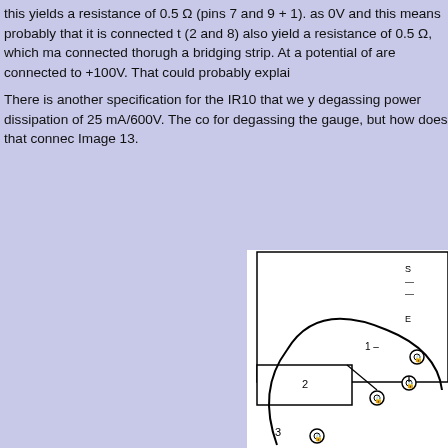this yields a resistance of 0.5 Ω (pins 7 and 9 + 1). as 0V and this means probably that it is connected t (2 and 8) also yield a resistance of 0.5 Ω, which ma connected thorugh a bridging strip. At a potential of are connected to +100V. That could probably explai
There is another specification for the IR10 that we y degassing power dissipation of 25 mA/600V. The co for degassing the gauge, but how does that connec Image 13.
[Figure (engineering-diagram): Partial engineering schematic diagram showing numbered pin locations (2, 3, 1) with circular connector symbols on what appears to be a circular component outline, with a rectangular housing. Labels 1, 2, 3 visible with pin circles.]